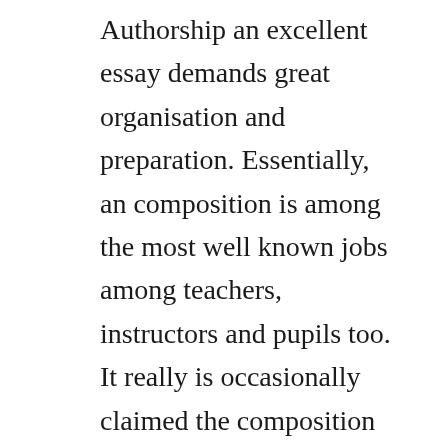Authorship an excellent essay demands great organisation and preparation. Essentially, an composition is among the most well known jobs among teachers, instructors and pupils too. It really is occasionally claimed the composition is valuable since it educates learners to compose characters. Show your own students an composition isn't about creating repetitive phrases with basic info Essay writing is really a kind of the tough homework. Scholar essays aren't assumed to be edge -of-your- seat whodunnits. Authorship will concentrate on essential documents predicated on materials from the written text and person documents. The principal use of an